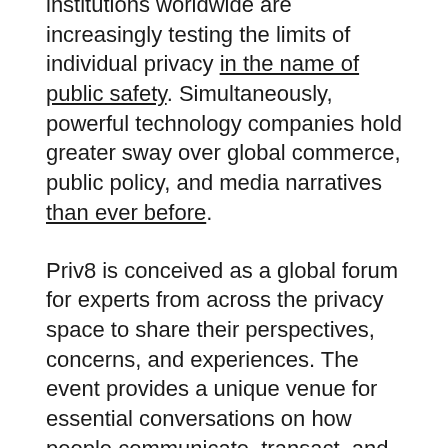institutions worldwide are increasingly testing the limits of individual privacy in the name of public safety. Simultaneously, powerful technology companies hold greater sway over global commerce, public policy, and media narratives than ever before.
Priv8 is conceived as a global forum for experts from across the privacy space to share their perspectives, concerns, and experiences. The event provides a unique venue for essential conversations on how people communicate, transact, and live in a time of pervasive digital surveillance.
Orchid and Handshake have brought together a world-class group of experts and advocates from various business, government, academic, and nonprofit spheres. Mr. Greenwald is the author of